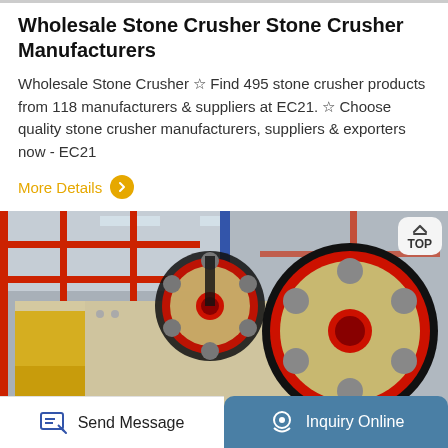Wholesale Stone Crusher Stone Crusher Manufacturers
Wholesale Stone Crusher ☆ Find 495 stone crusher products from 118 manufacturers & suppliers at EC21. ☆ Choose quality stone crusher manufacturers, suppliers & exporters now - EC21
More Details
[Figure (photo): Close-up photo of a large industrial stone crusher machine with cream/beige colored body and a large red and black flywheel pulley, inside a factory building with red steel framework in background]
Send Message
Inquiry Online